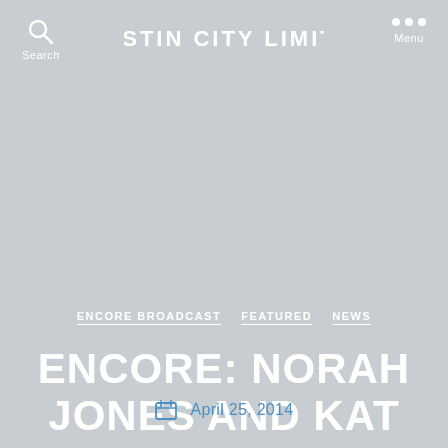AUSTIN CITY LIMITS | Search | Menu
ENCORE BROADCAST  FEATURED  NEWS
ENCORE: NORAH JONES AND KAT EDMONSON
April 25, 2014